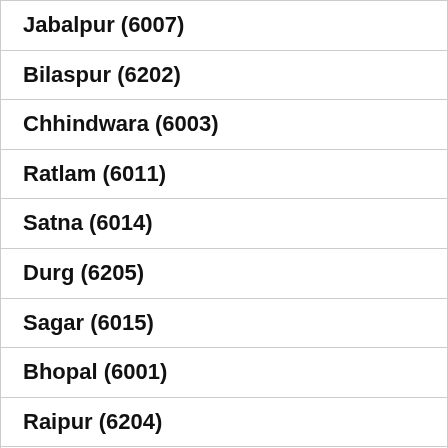Jabalpur (6007)
Bilaspur (6202)
Chhindwara (6003)
Ratlam (6011)
Satna (6014)
Durg (6205)
Sagar (6015)
Bhopal (6001)
Raipur (6204)
Leh (1005)
Gwalior (6005)